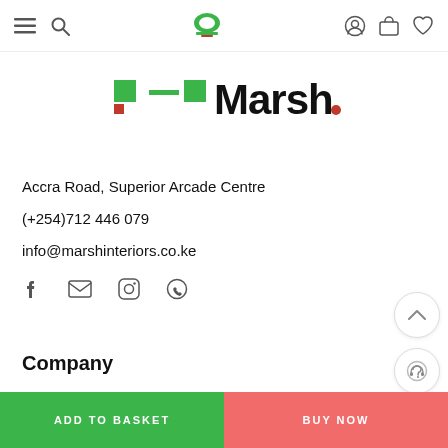Navigation header with menu, search, logo, account, basket, and wishlist icons
[Figure (logo): Marsh Interiors logo with green and red flag motif and stylized text 'Marsh.']
Accra Road, Superior Arcade Centre
(+254)712 446 079
info@marshinteriors.co.ke
[Figure (other): Social media icons: Facebook, Email, Instagram, WhatsApp]
Company
Custom Care
ADD TO BASKET   BUY NOW